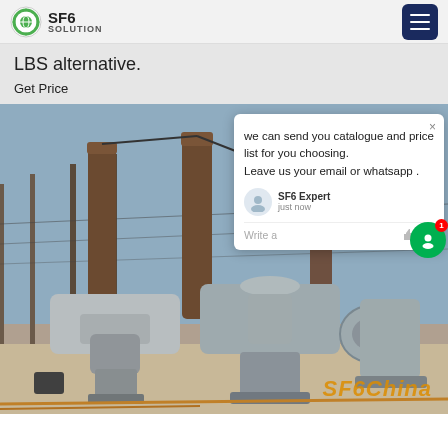SF6 SOLUTION
LBS alternative.
Get Price
[Figure (photo): Photograph of a high-voltage electrical substation with SF6 gas-insulated equipment, large cylindrical insulators and switchgear mounted on pedestals, with power transmission towers in the background. An SF6China watermark appears at the bottom right. A live chat popup overlay is visible in the upper right of the image.]
we can send you catalogue and price list for you choosing.
Leave us your email or whatsapp .
SF6 Expert   just now
Write a